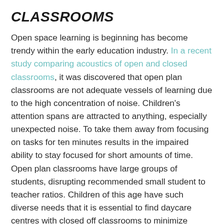CLASSROOMS
Open space learning is beginning has become trendy within the early education industry. In a recent study comparing acoustics of open and closed classrooms, it was discovered that open plan classrooms are not adequate vessels of learning due to the high concentration of noise. Children's attention spans are attracted to anything, especially unexpected noise. To take them away from focusing on tasks for ten minutes results in the impaired ability to stay focused for short amounts of time. Open plan classrooms have large groups of students, disrupting recommended small student to teacher ratios. Children of this age have such diverse needs that it is essential to find daycare centres with closed off classrooms to minimize distractions. Open daycare concepts look revolutionary, yet they are